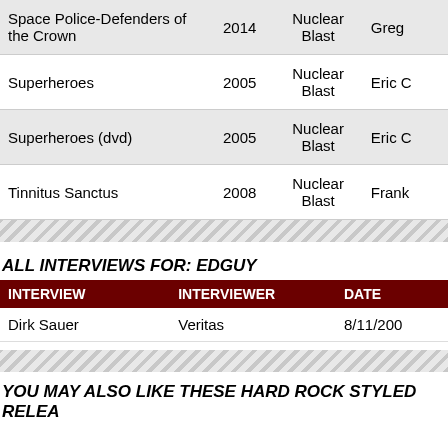|  |  | Nuclear Blast |  |
| --- | --- | --- | --- |
| Space Police-Defenders of the Crown | 2014 | Nuclear Blast | Greg |
| Superheroes | 2005 | Nuclear Blast | Eric C |
| Superheroes (dvd) | 2005 | Nuclear Blast | Eric C |
| Tinnitus Sanctus | 2008 | Nuclear Blast | Frank |
ALL INTERVIEWS FOR: EDGUY
| INTERVIEW | INTERVIEWER | DATE |
| --- | --- | --- |
| Dirk Sauer | Veritas | 8/11/200 |
YOU MAY ALSO LIKE THESE HARD ROCK STYLED RELEA